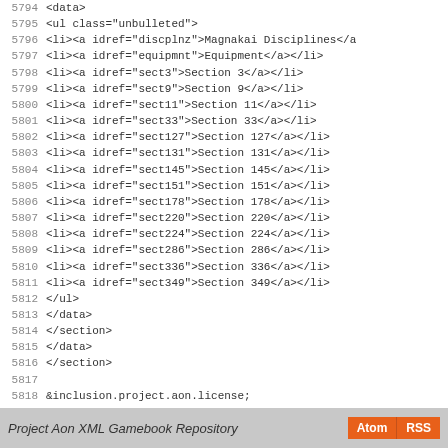Code listing lines 5794-5822 showing XML gamebook structure with ul elements, li elements with idref attributes, closing tags for data/section elements, inclusion entity, and closing gamebook tag
Project Aon XML Gamebook Repository  Atom  RSS